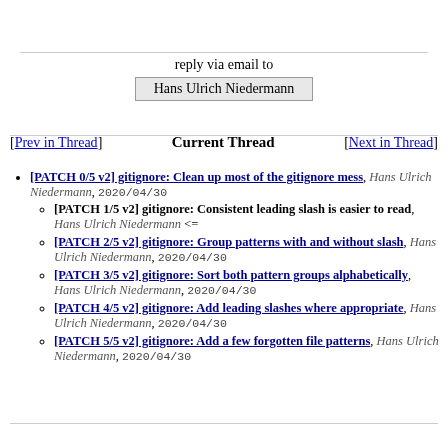reply via email to
Hans Ulrich Niedermann
[Prev in Thread]   Current Thread   [Next in Thread]
[PATCH 0/5 v2] gitignore: Clean up most of the gitignore mess, Hans Ulrich Niedermann, 2020/04/30
[PATCH 1/5 v2] gitignore: Consistent leading slash is easier to read, Hans Ulrich Niedermann <=
[PATCH 2/5 v2] gitignore: Group patterns with and without slash, Hans Ulrich Niedermann, 2020/04/30
[PATCH 3/5 v2] gitignore: Sort both pattern groups alphabetically, Hans Ulrich Niedermann, 2020/04/30
[PATCH 4/5 v2] gitignore: Add leading slashes where appropriate, Hans Ulrich Niedermann, 2020/04/30
[PATCH 5/5 v2] gitignore: Add a few forgotten file patterns, Hans Ulrich Niedermann, 2020/04/30